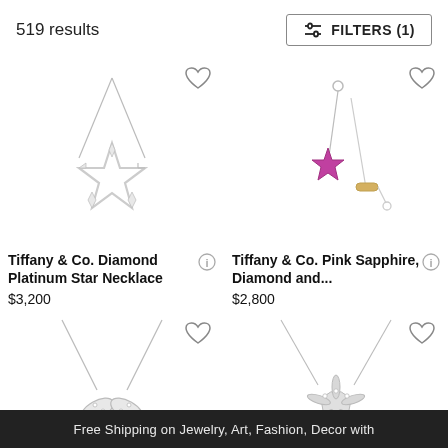519 results
FILTERS (1)
[Figure (photo): Tiffany & Co. Diamond Platinum Star Necklace with a star-shaped diamond pendant on a platinum chain]
Tiffany & Co. Diamond Platinum Star Necklace
$3,200
[Figure (photo): Tiffany & Co. Pink Sapphire, Diamond and... earring with pink star gemstone hanging on a chain]
Tiffany & Co. Pink Sapphire, Diamond and...
$2,800
[Figure (photo): Silver necklace with leaf/wing shaped pendant with diamonds on a chain]
[Figure (photo): Silver necklace with starfish-shaped diamond pendant on a chain]
Free Shipping on Jewelry, Art, Fashion, Decor with